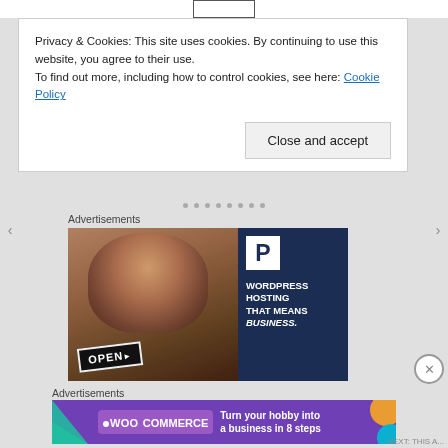Privacy & Cookies: This site uses cookies. By continuing to use this website, you agree to their use. To find out more, including how to control cookies, see here: Cookie Policy
Close and accept
Advertisements
[Figure (photo): WordPress Hosting advertisement showing a woman holding an OPEN sign with text WORDPRESS HOSTING THAT MEANS BUSINESS.]
Advertisements
[Figure (photo): WooCommerce advertisement with purple background showing WOO COMMERCE logo and text Turn your hobby into a business in 8 steps]